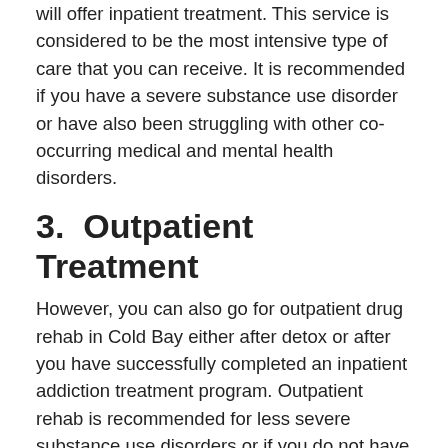will offer inpatient treatment. This service is considered to be the most intensive type of care that you can receive. It is recommended if you have a severe substance use disorder or have also been struggling with other co-occurring medical and mental health disorders.
3.  Outpatient Treatment
However, you can also go for outpatient drug rehab in Cold Bay either after detox or after you have successfully completed an inpatient addiction treatment program. Outpatient rehab is recommended for less severe substance use disorders or if you do not have other co-occurring disorders to manage.
4.  Aftercare Services
Even after you have been through formal addiction treatment, you may still benefit from other aftercare services. These are designed to reduce your risk of relapse especially during the early days of your recovery.